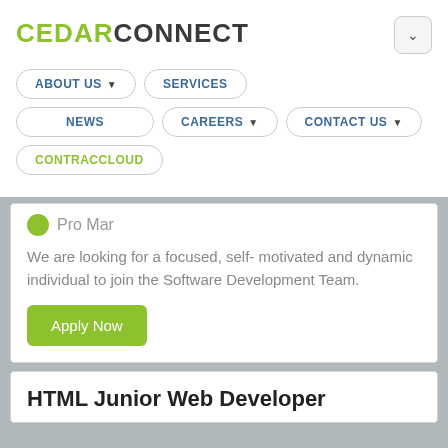CEDARCONNECT
ABOUT US | SERVICES | News | CAREERS | CONTACT US | CONTRACCLOUD
We are looking for a focused, self- motivated and dynamic individual to join the Software Development Team.
Apply Now
HTML Junior Web Developer